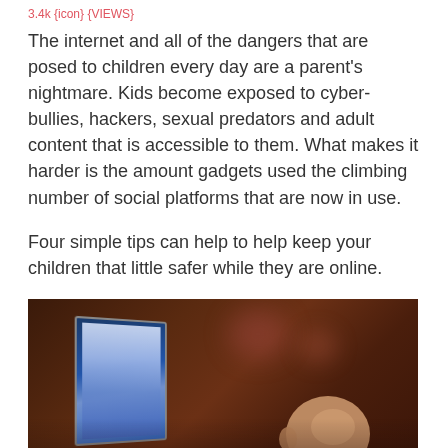3.4k {icon} {VIEWS}
The internet and all of the dangers that are posed to children every day are a parent's nightmare. Kids become exposed to cyber-bullies, hackers, sexual predators and adult content that is accessible to them. What makes it harder is the amount gadgets used the climbing number of social platforms that are now in use.
Four simple tips can help to help keep your children that little safer while they are online.
[Figure (photo): A young child (baby/toddler) lying down looking at a laptop screen. The photo has a dark, blurred bokeh background in brown/red tones with the laptop screen glowing blue-white on the left side of the frame.]